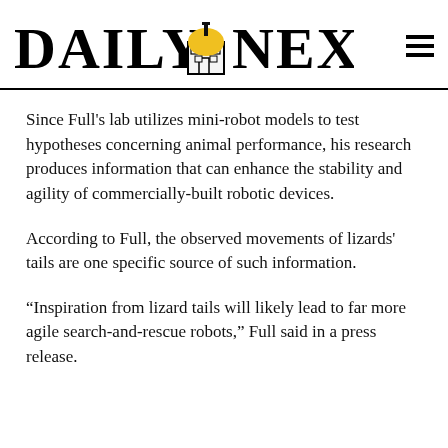Daily Nexus
Since Full's lab utilizes mini-robot models to test hypotheses concerning animal performance, his research produces information that can enhance the stability and agility of commercially-built robotic devices.
According to Full, the observed movements of lizards' tails are one specific source of such information.
“Inspiration from lizard tails will likely lead to far more agile search-and-rescue robots,” Full said in a press release.